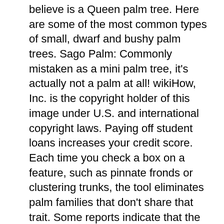believe is a Queen palm tree. Here are some of the most common types of small, dwarf and bushy palm trees. Sago Palm: Commonly mistaken as a mini palm tree, it's actually not a palm at all! wikiHow, Inc. is the copyright holder of this image under U.S. and international copyright laws. Paying off student loans increases your credit score. Each time you check a box on a feature, such as pinnate fronds or clustering trunks, the tool eliminates palm families that don't share that trait. Some reports indicate that the Christmas palm tree is one of the most popular ornamental types of palm on the planet. The Mexican Palm tree has tall and skinny trunk. Use as an accent or barrier planting. Please help us continue to provide you with our trusted how-to guides and videos for free by whitelisting wikiHow on your ad blocker. This image may not be used by other entities without the express written consent of wikiHow, Inc. \n<\/p>